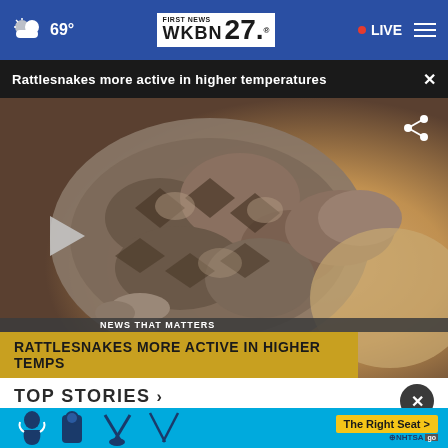69° | WKBN FIRST NEWS 27 | • LIVE
Rattlesnakes more active in higher temperatures ×
[Figure (photo): Close-up photo of a coiled rattlesnake with a play button overlay and lower-third graphics reading 'NEWS THAT MATTERS / RATTLESNAKES MORE ACTIVE IN HIGHER TEMPS']
TOP STORIES ›
[Figure (infographic): NHTSA advertisement banner with car seat safety icons and 'The Right Seat >' call-to-action button on cyan background]